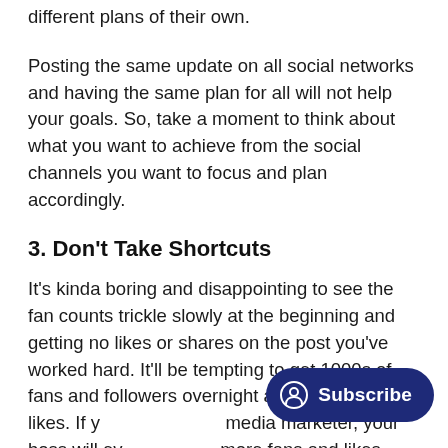different plans of their own.
Posting the same update on all social networks and having the same plan for all will not help your goals. So, take a moment to think about what you want to achieve from the social channels you want to focus and plan accordingly.
3. Don't Take Shortcuts
It's kinda boring and disappointing to see the fan counts trickle slowly at the beginning and getting no likes or shares on the post you've worked hard. It'll be tempting to get 1000s of fans and followers overnight and get 100s of likes. If you are a social media marketer, your boss will even demand more fans and likes.